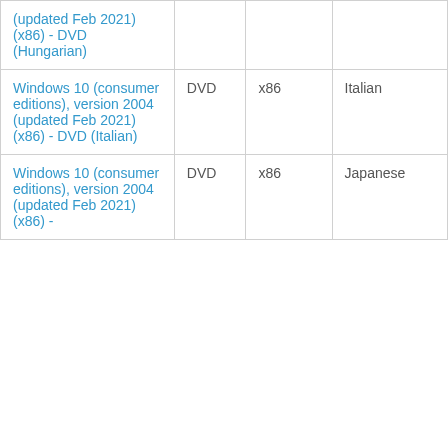| Product | Type | Architecture | Language |
| --- | --- | --- | --- |
| (updated Feb 2021) (x86) - DVD (Hungarian) | DVD | x86 | Hungarian |
| Windows 10 (consumer editions), version 2004 (updated Feb 2021) (x86) - DVD (Italian) | DVD | x86 | Italian |
| Windows 10 (consumer editions), version 2004 (updated Feb 2021) (x86) - | DVD | x86 | Japanese |